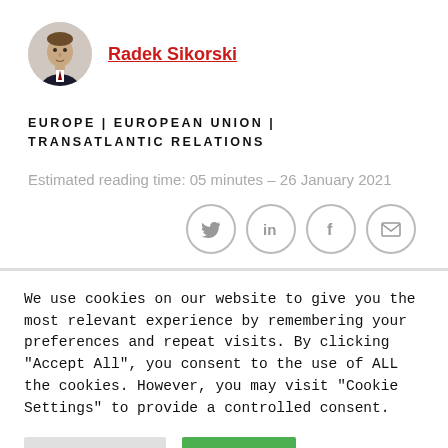Radek Sikorski
EUROPE | EUROPEAN UNION | TRANSATLANTIC RELATIONS
Estimated reading time: 05 minutes – 26 January 2021
[Figure (infographic): Social share icons: Twitter, LinkedIn, Facebook, Email]
We use cookies on our website to give you the most relevant experience by remembering your preferences and repeat visits. By clicking "Accept All", you consent to the use of ALL the cookies. However, you may visit "Cookie Settings" to provide a controlled consent.